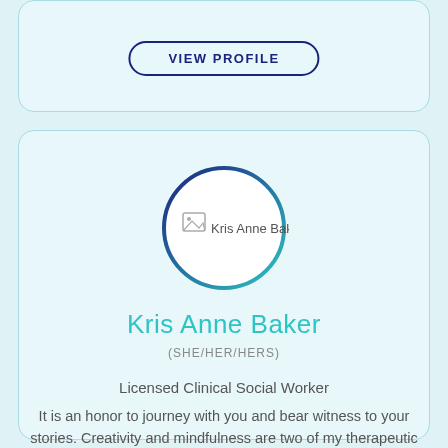VIEW PROFILE
[Figure (illustration): Profile card for Kris Anne Baker with circular avatar placeholder and teal/navy gradient circle border]
Kris Anne Baker
(SHE/HER/HERS)
Licensed Clinical Social Worker
It is an honor to journey with you and bear witness to your stories. Creativity and mindfulness are two of my therapeutic strengths.